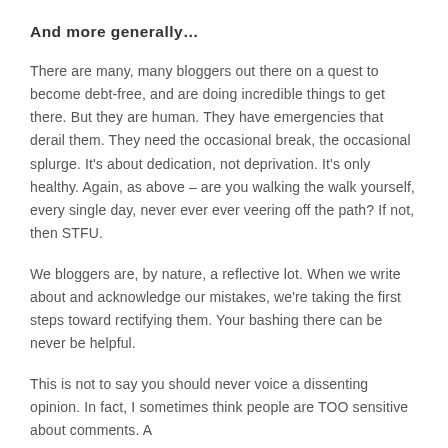And more generally…
There are many, many bloggers out there on a quest to become debt-free, and are doing incredible things to get there. But they are human. They have emergencies that derail them. They need the occasional break, the occasional splurge. It's about dedication, not deprivation. It's only healthy. Again, as above – are you walking the walk yourself, every single day, never ever ever veering off the path? If not, then STFU.
We bloggers are, by nature, a reflective lot. When we write about and acknowledge our mistakes, we're taking the first steps toward rectifying them. Your bashing there can be never be helpful.
This is not to say you should never voice a dissenting opinion. In fact, I sometimes think people are TOO sensitive about comments. A